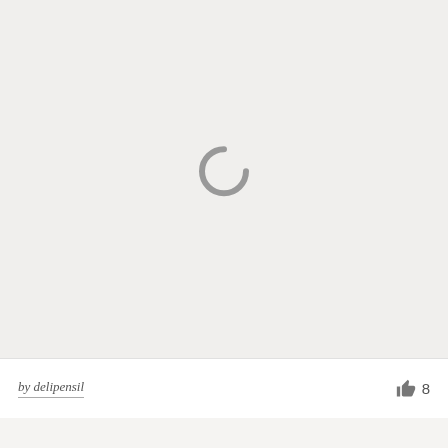[Figure (illustration): Loading spinner icon — a grey arc forming most of a circle, indicating content is loading, centered in a light grey card area]
by delipensil
8